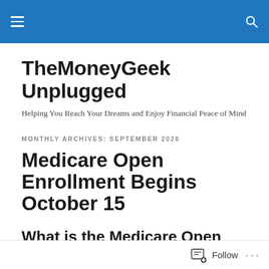TheMoneyGeek Unplugged — site navigation header bar
TheMoneyGeek Unplugged
Helping You Reach Your Dreams and Enjoy Financial Peace of Mind
MONTHLY ARCHIVES: SEPTEMBER 2020
Medicare Open Enrollment Begins October 15
What is the Medicare Open Enrollment Period?
Follow